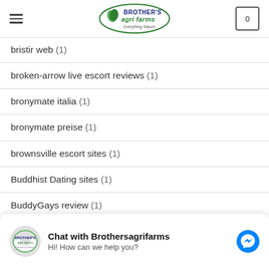[Figure (logo): Brother's Agri Farms logo in green oval with leaf icon and 'Everything Nature' tagline]
bristir web (1)
broken-arrow live escort reviews (1)
bronymate italia (1)
bronymate preise (1)
brownsville escort sites (1)
Buddhist Dating sites (1)
BuddyGays review (1)
buffalo escort sites (1)
Chat with Brothersagrifarms
Hi! How can we help you?